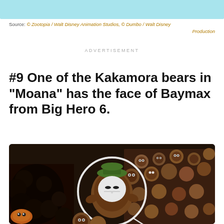[Figure (photo): Top portion of a light blue/cyan colored image, partially cropped at the top of the page]
Source: © Zootopia / Walt Disney Animation Studios, © Dumbo / Walt Disney Production
ADVERTISEMENT
#9 One of the Kakamora bears in "Moana" has the face of Baymax from Big Hero 6.
[Figure (photo): Screenshot from the movie Moana showing many Kakamora (small coconut-like creatures) with a circle highlighting one that has the face of Baymax from Big Hero 6. A girl with curly dark hair is visible on the left side.]